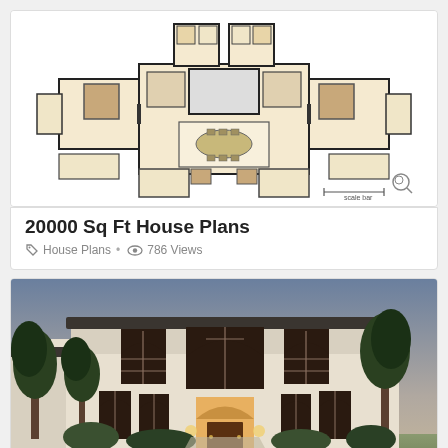[Figure (schematic): Floor plan / architectural layout of a large multi-room house showing rooms, corridors and spaces in a symmetrical layout with beige/tan room fills and bold black walls]
20000 Sq Ft House Plans
House Plans · 786 Views
[Figure (photo): Exterior photo of a large Mediterranean-style luxury home at dusk with arched windows, arched doorway, stucco walls, tile roof, and large trees in front]